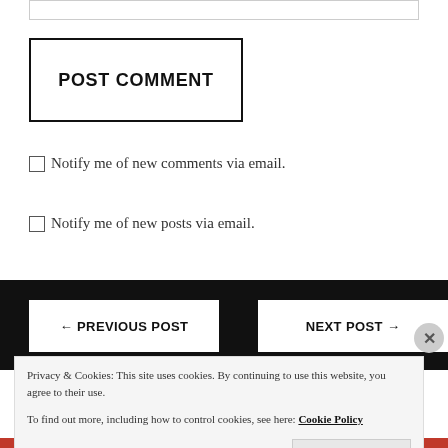[Figure (screenshot): Top input field border (partial, cropped at top)]
POST COMMENT
Notify me of new comments via email.
Notify me of new posts via email.
← PREVIOUS POST    NEXT POST →
Privacy & Cookies: This site uses cookies. By continuing to use this website, you agree to their use.
To find out more, including how to control cookies, see here: Cookie Policy
Close and accept